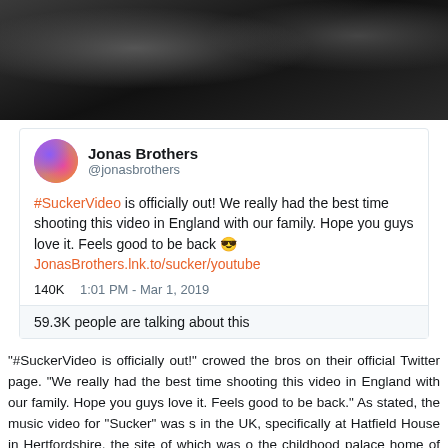[Figure (photo): Dark/moody photo background showing figures on stage]
Jonas Brothers @jonasbrothers
#SuckerVideo is officially out! We really had the best time shooting this video in England with our family. Hope you guys love it. Feels good to be back 😎 JonasBrothers.lnk.to/sucker/youtube
140K  1:01 PM - Mar 1, 2019
59.3K people are talking about this
"#SuckerVideo is officially out!" crowed the bros on their official Twitter page. "We really had the best time shooting this video in England with our family. Hope you guys love it. Feels good to be back." As stated, the music video for "Sucker" was s in the UK, specifically at Hatfield House in Hertfordshire, the site of which was o the childhood palace home of Queen Elizabeth I.